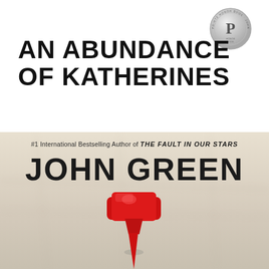[Figure (logo): Silver Printz award medal/seal in top right corner]
AN ABUNDANCE OF KATHERINES
[Figure (photo): Book cover bottom half: beige/cream blurred background with a large red pushpin in center foreground, author byline text overlay]
#1 International Bestselling Author of THE FAULT IN OUR STARS
JOHN GREEN